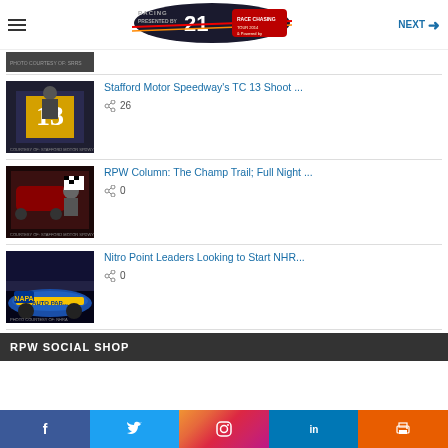NEXT
[Figure (logo): Racing publication logo with number 21]
[Figure (photo): Partial photo at top of list]
Stafford Motor Speedway's TC 13 Shoot ...
26
[Figure (photo): Person holding number 13 flag at Stafford Motor Speedway]
RPW Column: The Champ Trail; Full Night ...
0
[Figure (photo): Driver with checkered flag at Stafford Motor Speedway]
Nitro Point Leaders Looking to Start NHR...
0
[Figure (photo): NAPA Auto Parts blue funny car drag racing]
RPW SOCIAL SHOP
Facebook Twitter Instagram LinkedIn Print